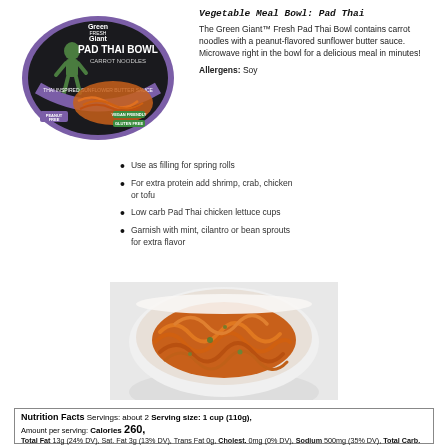[Figure (photo): Green Giant Pad Thai Bowl product packaging — circular black container with purple border, green giant figure, carrot noodles visible, labeled Pad Thai Bowl Carrot Noodles, Peanut Free, Vegan Friendly, Gluten Free]
Vegetable Meal Bowl: Pad Thai
The Green Giant™ Fresh Pad Thai Bowl contains carrot noodles with a peanut-flavored sunflower butter sauce. Microwave right in the bowl for a delicious meal in minutes!
Allergens: Soy
Use as filling for spring rolls
For extra protein add shrimp, crab, chicken or tofu
Low carb Pad Thai chicken lettuce cups
Garnish with mint, cilantro or bean sprouts for extra flavor
[Figure (photo): A white bowl filled with orange carrot noodles (pad thai style) with green herb garnishes, on a white background]
| Nutrition Facts  Servings: about 2  Serving size: 1 cup (110g), |
| Amount per serving:  Calories 260, |
| Total Fat 13g (24% DV),  Sat. Fat 3g (13% DV),  Trans Fat 0g,  Cholest. 0mg (0% DV),  Sodium 500mg (35% DV),  Total Carb. 18g (7% DV),  Fiber 4g (14% DV),  Total Sugars 11g (incl. 6g Added Sugars 12% DV),  Protein 6g 11  DV(6% DV),  Calcium (3% DV),  Iron (8% DV),  Potas. (10% DV) |